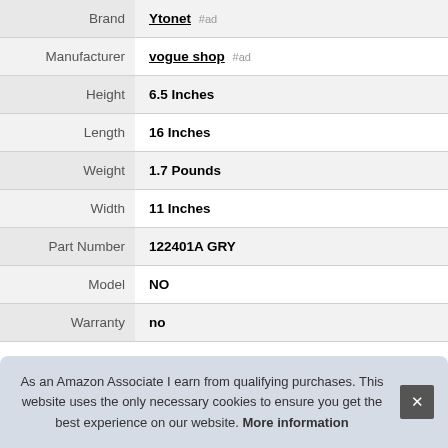| Property | Value |
| --- | --- |
| Brand | Ytonet #ad |
| Manufacturer | vogue shop #ad |
| Height | 6.5 Inches |
| Length | 16 Inches |
| Weight | 1.7 Pounds |
| Width | 11 Inches |
| Part Number | 122401A GRY |
| Model | NO |
| Warranty | no |
As an Amazon Associate I earn from qualifying purchases. This website uses the only necessary cookies to ensure you get the best experience on our website. More information